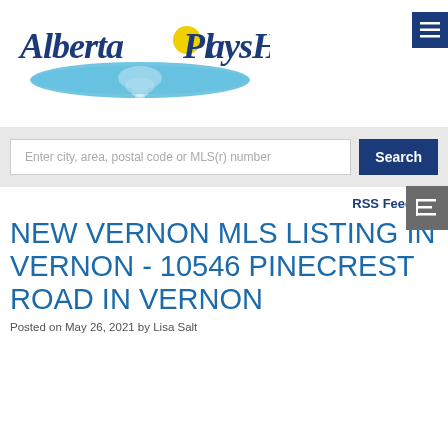[Figure (logo): AlbertaPlaysHere.com logo with stylized text, yellow sun and blue water reflection graphic]
Enter city, area, postal code or MLS(r) number
Search
RSS Feed
NEW VERNON MLS LISTING IN VERNON - 10546 PINECREST ROAD IN VERNON
Posted on May 26, 2021 by Lisa Salt